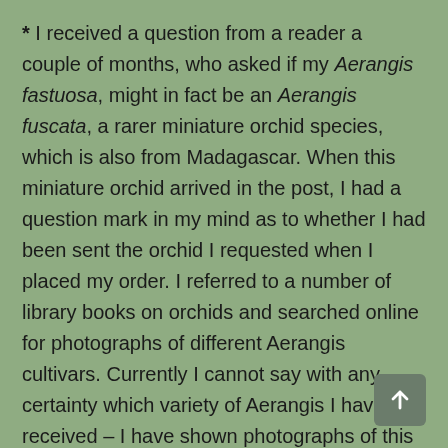* I received a question from a reader a couple of months, who asked if my Aerangis fastuosa, might in fact be an Aerangis fuscata, a rarer miniature orchid species, which is also from Madagascar.  When this miniature orchid arrived in the post, I had a question mark in my mind as to whether I had been sent the orchid I requested when I placed my order.  I referred to a number of library books on orchids and searched online for photographs of different Aerangis cultivars.  Currently I cannot say with any certainty which variety of Aerangis I have received – I have shown photographs of this orchid to a number of orchid experts from around the world, so far no one has been able to identify the specimen.  The best and easiest way to identify this orchid will be if it flowers.  I say 'if', as this Aerangis doesn't look as healthy or happy as I would like.  As you'll see in my photographs in a moment, I have now re-mounted this orchid